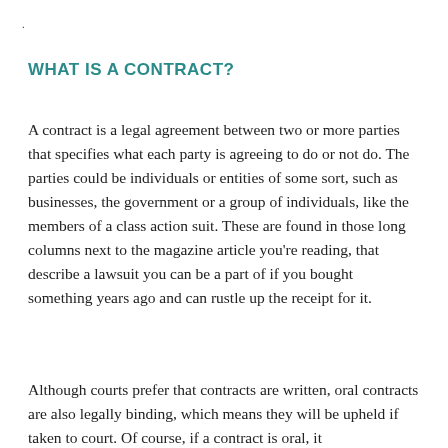WHAT IS A CONTRACT?
A contract is a legal agreement between two or more parties that specifies what each party is agreeing to do or not do. The parties could be individuals or entities of some sort, such as businesses, the government or a group of individuals, like the members of a class action suit. These are found in those long columns next to the magazine article you're reading, that describe a lawsuit you can be a part of if you bought something years ago and can rustle up the receipt for it.
Although courts prefer that contracts are written, oral contracts are also legally binding, which means they will be upheld if taken to court. Of course, if a contract is oral, it